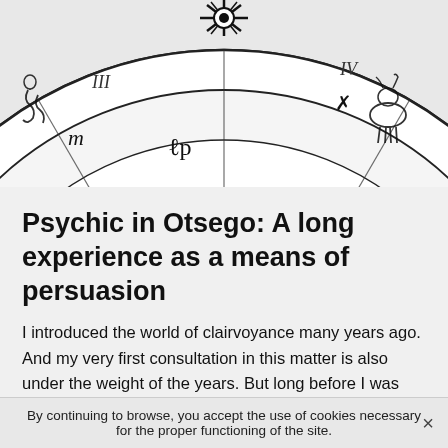[Figure (illustration): Black and white astrology/zodiac wheel chart with symbols for zodiac signs, planets, and astrological notations. Partial view showing upper portion of the wheel with Leo sun symbol at top center.]
Psychic in Otsego: A long experience as a means of persuasion
I introduced the world of clairvoyance many years ago. And my very first consultation in this matter is also under the weight of the years. But long before I was introduced to this profession, my special gift of clairvoyance was awakened within me. Indeed, my very first contact with my gift of clairvoyance probably goes back to when I was younger.
As far as my memory can carry me, I always had the
By continuing to browse, you accept the use of cookies necessary for the proper functioning of the site.